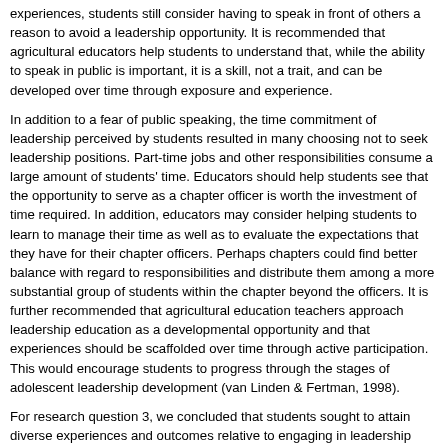experiences, students still consider having to speak in front of others a reason to avoid a leadership opportunity. It is recommended that agricultural educators help students to understand that, while the ability to speak in public is important, it is a skill, not a trait, and can be developed over time through exposure and experience.
In addition to a fear of public speaking, the time commitment of leadership perceived by students resulted in many choosing not to seek leadership positions. Part-time jobs and other responsibilities consume a large amount of students' time. Educators should help students see that the opportunity to serve as a chapter officer is worth the investment of time required. In addition, educators may consider helping students to learn to manage their time as well as to evaluate the expectations that they have for their chapter officers. Perhaps chapters could find better balance with regard to responsibilities and distribute them among a more substantial group of students within the chapter beyond the officers. It is further recommended that agricultural education teachers approach leadership education as a developmental opportunity and that experiences should be scaffolded over time through active participation. This would encourage students to progress through the stages of adolescent leadership development (van Linden & Fertman, 1998).
For research question 3, we concluded that students sought to attain diverse experiences and outcomes relative to engaging in leadership activities. Drawing partially from students' definition of leadership, we found that many were seeking an altruistic outcome to their leadership engagement. Often, officers cited a desire to help others and to help the broader community in positive ways. Based on this, we felt that students find value in and appreciate the greater purposes of leadership, which is an important step in their maturation. Varied personal and professional outcomes cited by students also had prominence. Students